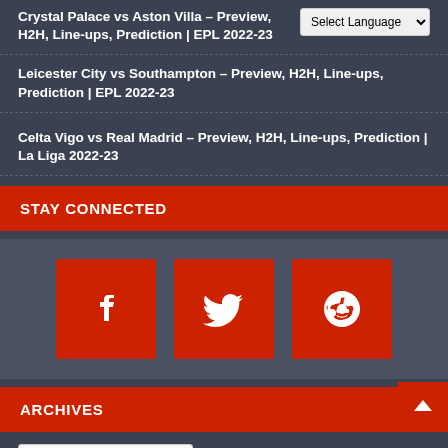Crystal Palace vs Aston Villa – Preview, H2H, Line-ups, Prediction | EPL 2022-23
Leicester City vs Southampton – Preview, H2H, Line-ups, Prediction | EPL 2022-23
Celta Vigo vs Real Madrid – Preview, H2H, Line-ups, Prediction | La Liga 2022-23
STAY CONNECTED
[Figure (infographic): Social media icons: Facebook (f), Twitter (bird), Reddit (alien) — each in a red square button]
ARCHIVES
Select Month